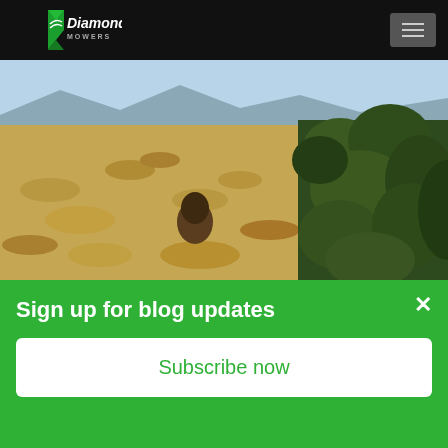Diamond Mowers
[Figure (photo): Landscape photo showing dry grassland prairie with scattered low shrubs on the left and a large eastern red-cedar (juniper) tree with dense green foliage on the right, mountains visible in the background under a blue sky.]
In Oklahoma, Texas, and Kansas, the eastern red-cedar (Juniperus virginiana L.) has substantially reduced livestock
Sign up for blog updates
Subscribe now